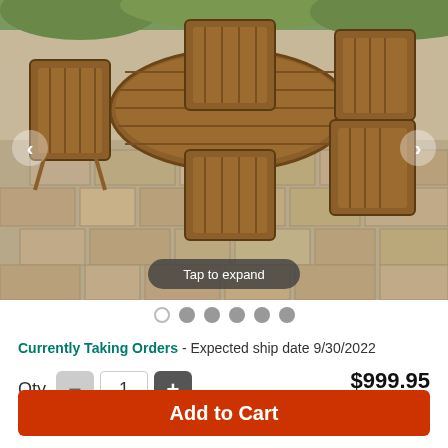[Figure (photo): Outdoor wooden patio dining set with an oval table and six folding chairs arranged on a stone paver patio. Navigation arrows visible on left and right edges. 'Tap to expand' button overlay at the bottom center.]
Currently Taking Orders - Expected ship date 9/30/2022
Qty  -  1  +   $999.95  ($100)
Add to Cart